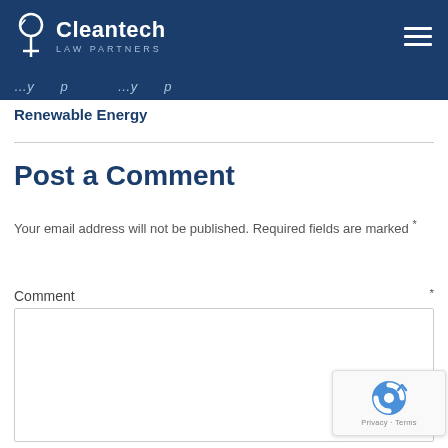Cleantech Law Partners
Renewable Energy
Post a Comment
Your email address will not be published. Required fields are marked *
Comment *